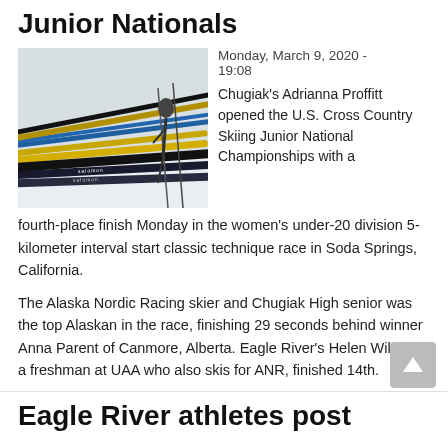Junior Nationals
[Figure (photo): Cross-country skis with yellow and black colors on snow, Salomon branding visible]
Monday, March 9, 2020 - 19:08
Chugiak's Adrianna Proffitt opened the U.S. Cross Country Skiing Junior National Championships with a fourth-place finish Monday in the women's under-20 division 5-kilometer interval start classic technique race in Soda Springs, California.
The Alaska Nordic Racing skier and Chugiak High senior was the top Alaskan in the race, finishing 29 seconds behind winner Anna Parent of Canmore, Alberta. Eagle River's Helen Wilson, a freshman at UAA who also skis for ANR, finished 14th.
Eagle River athletes post